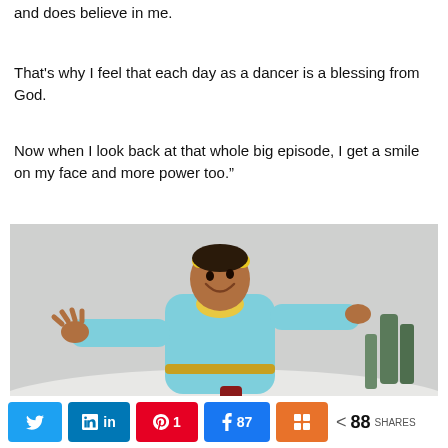and does believe in me.
That’s why I feel that each day as a dancer is a blessing from God.
Now when I look back at that whole big episode, I get a smile on my face and more power too.”
[Figure (photo): A man dressed in a light blue traditional outfit and yellow headband with arms outstretched, joyfully posing against a grey wintry background.]
Twitter | LinkedIn | Pinterest 1 | Facebook 87 | Mix | < 88 SHARES